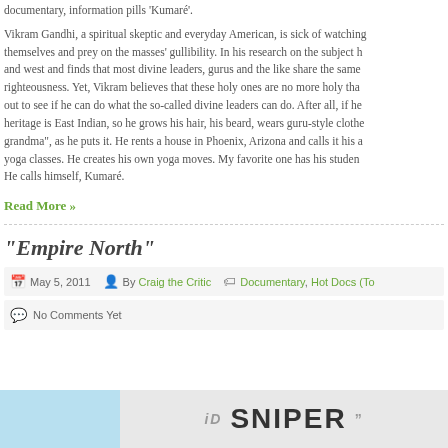documentary, information pills 'Kumaré'.
Vikram Gandhi, a spiritual skeptic and everyday American, is sick of watching themselves and prey on the masses' gullibility. In his research on the subject h and west and finds that most divine leaders, gurus and the like share the same righteousness. Yet, Vikram believes that these holy ones are no more holy tha out to see if he can do what the so-called divine leaders can do. After all, if he heritage is East Indian, so he grows his hair, his beard, wears guru-style clothe grandma", as he puts it. He rents a house in Phoenix, Arizona and calls it his a yoga classes. He creates his own yoga moves. My favorite one has his studen He calls himself, Kumaré.
Read More »
“Empire North”
May 5, 2011   By Craig the Critic   Documentary, Hot Docs (To...
No Comments Yet
[Figure (photo): Bottom image showing a blue sky on the left and text 'ID SNIPER' in large bold letters on a gray background on the right]